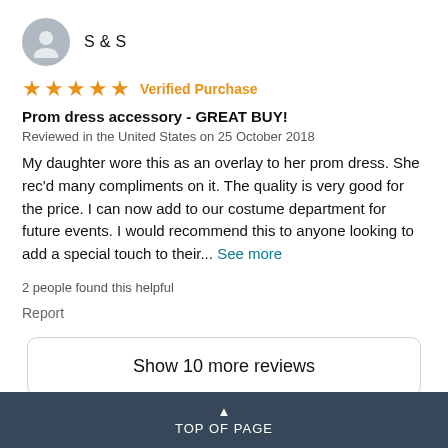S & S
★★★★★ Verified Purchase
Prom dress accessory - GREAT BUY!
Reviewed in the United States on 25 October 2018
My daughter wore this as an overlay to her prom dress. She rec'd many compliments on it. The quality is very good for the price. I can now add to our costume department for future events. I would recommend this to anyone looking to add a special touch to their... See more
2 people found this helpful
Report
Show 10 more reviews
TOP OF PAGE